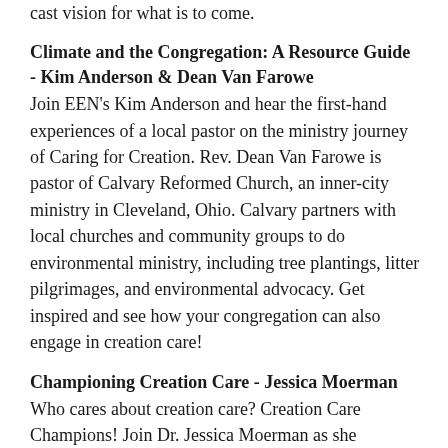cast vision for what is to come.
Climate and the Congregation: A Resource Guide - Kim Anderson & Dean Van Farowe
Join EEN's Kim Anderson and hear the first-hand experiences of a local pastor on the ministry journey of Caring for Creation. Rev. Dean Van Farowe is pastor of Calvary Reformed Church, an inner-city ministry in Cleveland, Ohio. Calvary partners with local churches and community groups to do environmental ministry, including tree plantings, litter pilgrimages, and environmental advocacy. Get inspired and see how your congregation can also engage in creation care!
Championing Creation Care - Jessica Moerman
Who cares about creation care? Creation Care Champions! Join Dr. Jessica Moerman as she discusses why EEN Champions, and their advocacy,